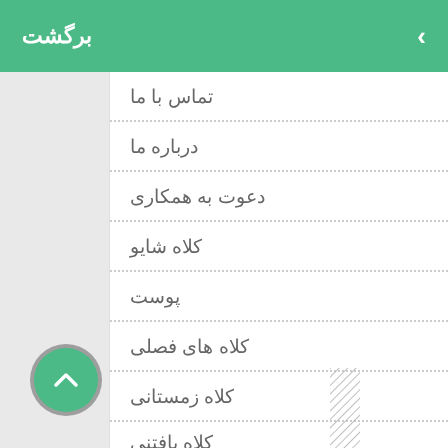برگشت
تماس با ما
درباره ما
دعوت به همکاری
کلاه شایو
پوست
کلاه های فصلی
کلاه زمستانی
کلاه بافتنی
مدل
گردش